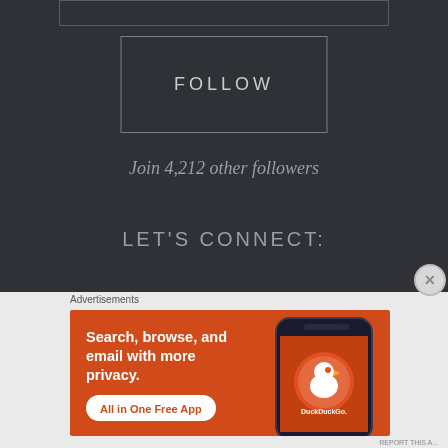Enter your email address
FOLLOW
Join 4,212 other followers
LET'S CONNECT:
Advertisements
[Figure (infographic): DuckDuckGo advertisement banner with orange background showing 'Search, browse, and email with more privacy. All in One Free App' alongside a phone displaying the DuckDuckGo app]
REPORT THIS A...